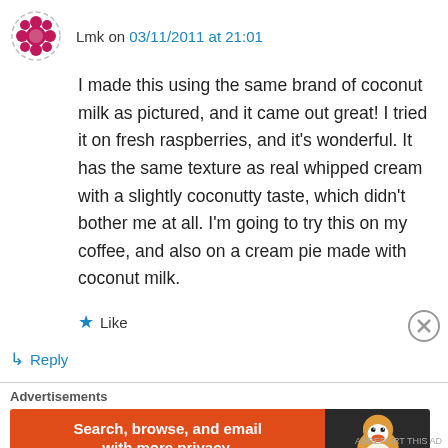Lmk on 03/11/2011 at 21:01
I made this using the same brand of coconut milk as pictured, and it came out great! I tried it on fresh raspberries, and it's wonderful. It has the same texture as real whipped cream with a slightly coconutty taste, which didn't bother me at all. I'm going to try this on my coffee, and also on a cream pie made with coconut milk.
★ Like
↳ Reply
[Figure (other): DuckDuckGo advertisement banner: 'Search, browse, and email with more privacy. All in One Free App' with DuckDuckGo logo on dark background]